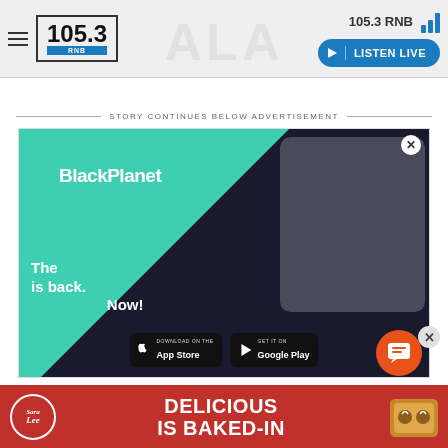105.3 RNB — LISTEN LIVE
STORY CONTINUES BELOW ADVERTISEMENT
[Figure (screenshot): BlackPlanet app advertisement. Dark background with teal triangle. Logo and text: BlackPlanet. Tagline: The Original is back. Download Now! App Store and Google Play buttons. Phone mockup shown on the right.]
[Figure (screenshot): Sara Lee advertisement. Red background. Sara Lee logo on the left. Text: DELICIOUS IS BAKED-IN. Toast with hearts shown on the right.]